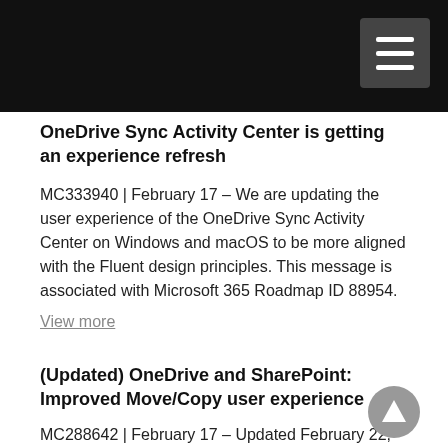OneDrive Sync Activity Center is getting an experience refresh
MC333940 | February 17 – We are updating the user experience of the OneDrive Sync Activity Center on Windows and macOS to be more aligned with the Fluent design principles. This message is associated with Microsoft 365 Roadmap ID 88954.
View more
(Updated) OneDrive and SharePoint: Improved Move/Copy user experience
MC288642 | February 17 – Updated February 22, 2022: We have updated the rollout timeline below. Thank you for your patience.We're refreshing the Move/Copy user experience in